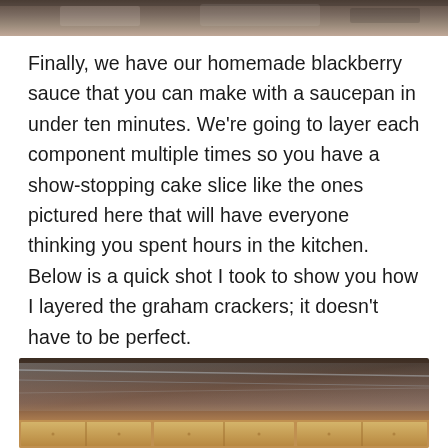[Figure (photo): Top partial photo of a blackberry cake, cropped at top edge of page]
Finally, we have our homemade blackberry sauce that you can make with a saucepan in under ten minutes. We're going to layer each component multiple times so you have a show-stopping cake slice like the ones pictured here that will have everyone thinking you spent hours in the kitchen. Below is a quick shot I took to show you how I layered the graham crackers; it doesn't have to be perfect.
[Figure (photo): Photo showing graham crackers layered in a pan wrapped with plastic wrap, bottom portion cropped]